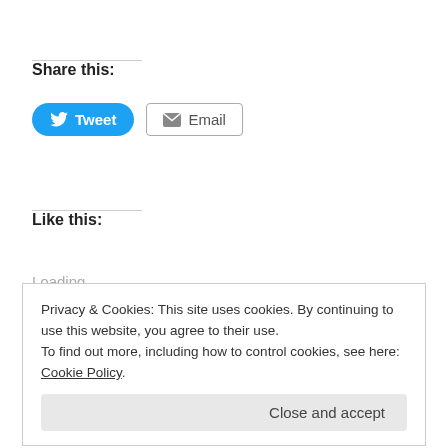Share this:
[Figure (screenshot): Tweet button (blue rounded, Twitter bird icon) and Email button (grey border, envelope icon)]
Like this:
Loading...
Privacy & Cookies: This site uses cookies. By continuing to use this website, you agree to their use.
To find out more, including how to control cookies, see here: Cookie Policy
Close and accept